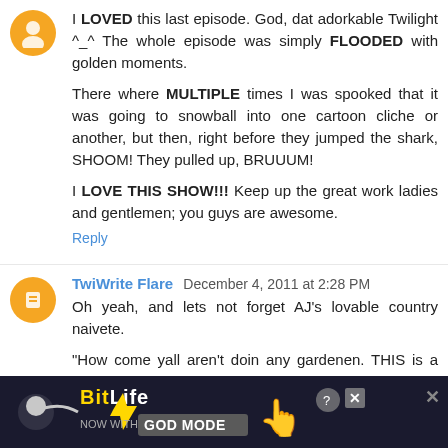I LOVED this last episode. God, dat adorkable Twilight ^_^ The whole episode was simply FLOODED with golden moments.

There where MULTIPLE times I was spooked that it was going to snowball into one cartoon cliche or another, but then, right before they jumped the shark, SHOOM! They pulled up, BRUUUM!

I LOVE THIS SHOW!!! Keep up the great work ladies and gentlemen; you guys are awesome.
Reply
TwiWrite Flare  December 4, 2011 at 2:28 PM
Oh yeah, and lets not forget AJ's lovable country naivete.

"How come yall aren't doin any gardenen. THIS is a garden party isn't it?"
GOD I loved that
[Figure (screenshot): BitLife advertisement banner with dark background, BitLife logo, lightning bolt graphic, hand pointing, and 'NOW WITH GOD MODE' text]